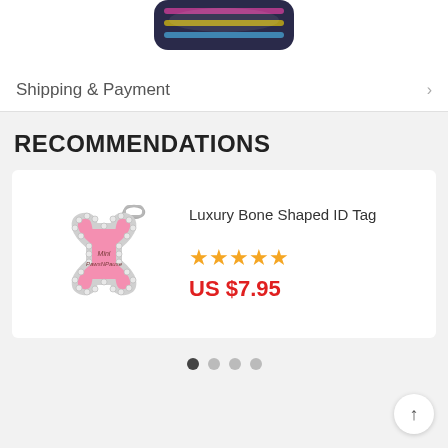[Figure (photo): Partial view of a dog collar or pet accessory in dark denim with colorful accents, cropped at top of page]
Shipping & Payment
RECOMMENDATIONS
[Figure (photo): Pink bone-shaped luxury pet ID tag with rhinestone border and lobster claw clasp]
Luxury Bone Shaped ID Tag
US $7.95